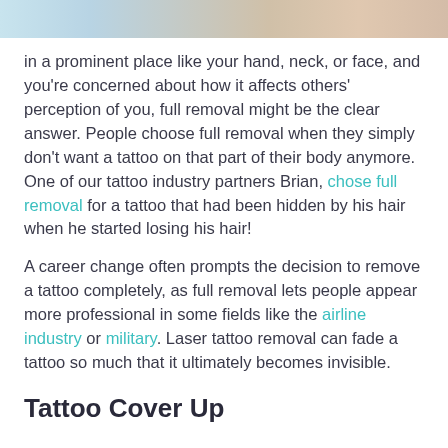[Figure (photo): Partial cropped photo strip at top of page showing a person, teal/blue and skin tones visible]
in a prominent place like your hand, neck, or face, and you're concerned about how it affects others' perception of you, full removal might be the clear answer. People choose full removal when they simply don't want a tattoo on that part of their body anymore. One of our tattoo industry partners Brian, chose full removal for a tattoo that had been hidden by his hair when he started losing his hair!
A career change often prompts the decision to remove a tattoo completely, as full removal lets people appear more professional in some fields like the airline industry or military. Laser tattoo removal can fade a tattoo so much that it ultimately becomes invisible.
Tattoo Cover Up